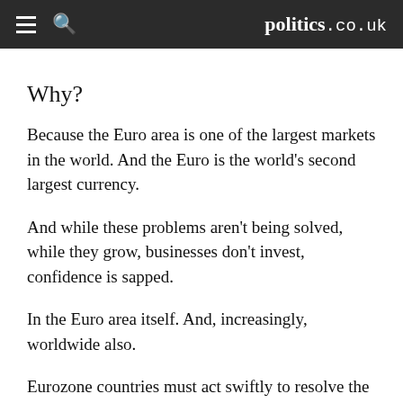politics.co.uk
Why?
Because the Euro area is one of the largest markets in the world. And the Euro is the world's second largest currency.
And while these problems aren't being solved, while they grow, businesses don't invest, confidence is sapped.
In the Euro area itself. And, increasingly, worldwide also.
Eurozone countries must act swiftly to resolve the